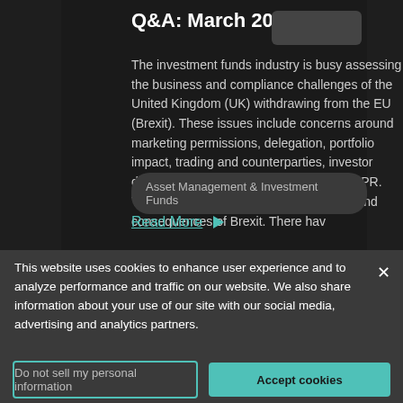Q&A: March 2019
The investment funds industry is busy assessing the business and compliance challenges of the United Kingdom (UK) withdrawing from the EU (Brexit). These issues include concerns around marketing permissions, delegation, portfolio impact, trading and counterparties, investor disclosures, contractual changes and GDPR. There is still no certainty over the timing and consequences of Brexit. There hav
Asset Management & Investment Funds
Read More
This website uses cookies to enhance user experience and to analyze performance and traffic on our website. We also share information about your use of our site with our social media, advertising and analytics partners.
Do not sell my personal information
Accept cookies